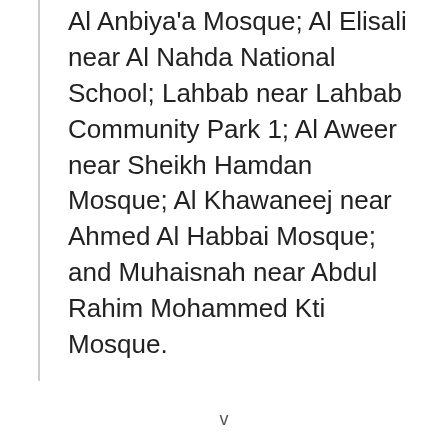Al Anbiya'a Mosque; Al Elisali near Al Nahda National School; Lahbab near Lahbab Community Park 1; Al Aweer near Sheikh Hamdan Mosque; Al Khawaneej near Ahmed Al Habbai Mosque; and Muhaisnah near Abdul Rahim Mohammed Kti Mosque.
v